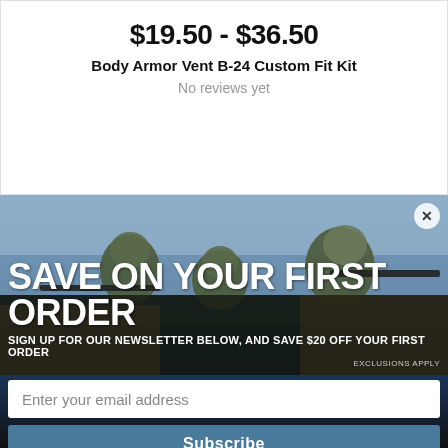$19.50 - $36.50
Body Armor Vent B-24 Custom Fit Kit
No reviews yet
[Figure (photo): Soldiers in military gear and helmets aiming rifles behind a rocky barricade with a blue sky background, used as a promotional banner background.]
SAVE ON YOUR FIRST ORDER
SIGN UP FOR OUR NEWSLETTER BELOW, AND SAVE $20 OFF YOUR FIRST ORDER
EXCLUSIONS APPLY
Enter your email address
Subscribe